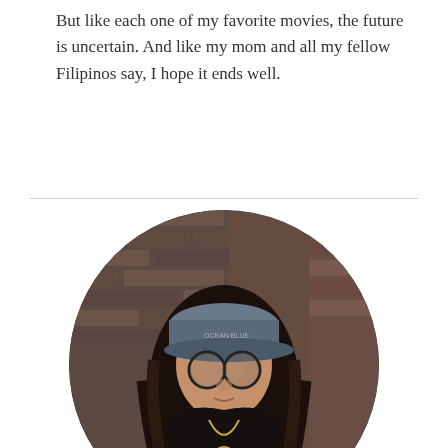But like each one of my favorite movies, the future is uncertain. And like my mom and all my fellow Filipinos say, I hope it ends well.
[Figure (photo): Circular cropped portrait photo of a young woman wearing round glasses and a grey baseball cap, dressed in black, with a gold pendant necklace, standing in front of a brick wall background.]